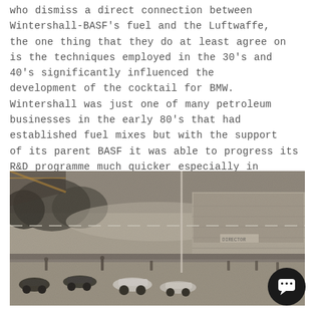who dismiss a direct connection between Wintershall-BASF's fuel and the Luftwaffe, the one thing that they do at least agree on is the techniques employed in the 30's and 40's significantly influenced the development of the cocktail for BMW. Wintershall was just one of many petroleum businesses in the early 80's that had established fuel mixes but with the support of its parent BASF it was able to progress its R&D programme much quicker especially in the area of new types of fuel additives.
[Figure (photo): Black and white vintage photograph of what appears to be a pre-war or early post-war motor racing event. Multiple open-wheel racing cars are visible at what looks like the start or pit lane area of a circuit. Large crowds of spectators are visible in the grandstands on the right side. Trees are visible in the background on the left. There is a chat button overlay in the bottom right corner.]